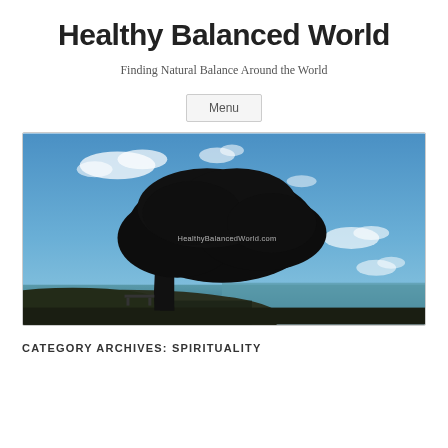Healthy Balanced World
Finding Natural Balance Around the World
Menu
[Figure (photo): A large tree silhouetted against a bright blue sky with scattered clouds, ocean visible in the background. Watermark text reads HealthyBalancedWorld.com]
CATEGORY ARCHIVES: SPIRITUALITY